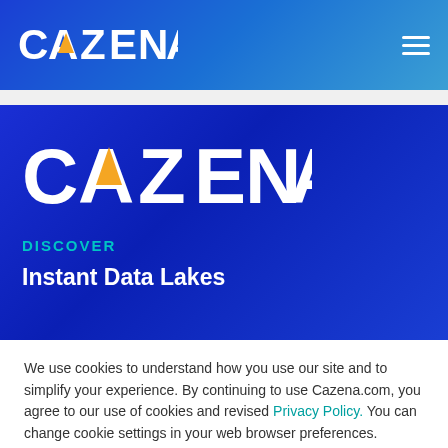CAZENA
[Figure (logo): Cazena logo large white on blue hero background]
DISCOVER
Instant Data Lakes
We use cookies to understand how you use our site and to simplify your experience. By continuing to use Cazena.com, you agree to our use of cookies and revised Privacy Policy. You can change cookie settings in your web browser preferences.
Accept